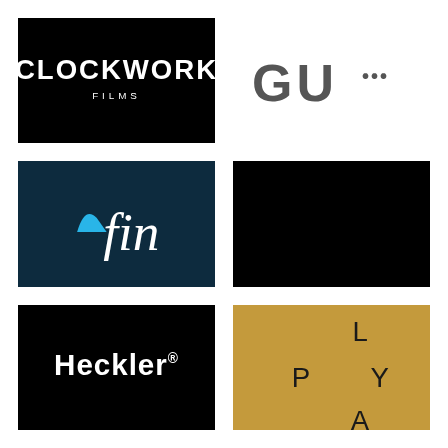[Figure (logo): Clockwork Films logo — white text on black square background. 'CLOCKWORK' in bold wide capitals, 'FILMS' smaller beneath.]
[Figure (logo): Partially visible logo showing letters 'GU' and partial letters, grey/dark on white background.]
[Figure (logo): Fin logo — dark navy blue square background with a cyan shark fin icon and italic white script text 'fin'.]
[Figure (logo): Solid black square — logo obscured or fully black background.]
[Figure (logo): Heckler logo — white bold sans-serif text 'Heckler' with registered trademark symbol on black square background.]
[Figure (logo): Play logo — golden/tan square with letters L, P, Y, A arranged in a 2x2 grid pattern spelling PLAY.]